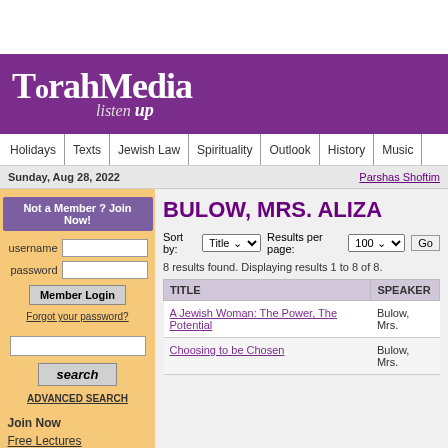[Figure (screenshot): TorahMedia website header with purple background showing 'TorahMedia listen up' logo]
TorahMedia listen up
Holidays | Texts | Jewish Law | Spirituality | Outlook | History | Music
Sunday, Aug 28, 2022    Parshas Shoftim
BULOW, MRS. ALIZA
Sort by: Title  Results per page: 100  Go
8 results found. Displaying results 1 to 8 of 8.
| TITLE | SPEAKER |
| --- | --- |
| A Jewish Woman: The Power, The Potential | Bulow, Mrs. |
| Choosing to be Chosen | Bulow, Mrs. |
Not a Member ? Join Now!
username
password
Member Login
Forgot your password?
search
ADVANCED SEARCH
Join Now
Free Lectures